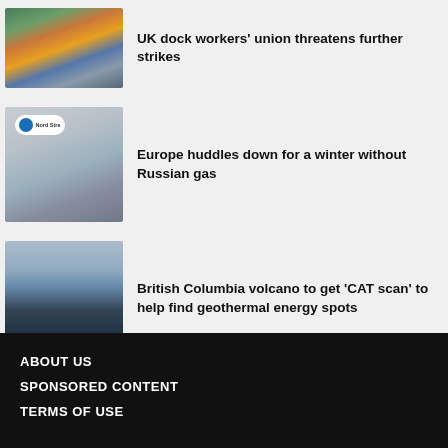[Figure (photo): Aerial view of a shipping dock with colourful stacked cargo containers]
UK dock workers’ union threatens further strikes
[Figure (photo): Nord Stream gas pipeline industrial equipment with a large circular valve component and company logo]
Europe huddles down for a winter without Russian gas
[Figure (photo): British Columbia mountain range with snow-capped peaks against a blue sky]
British Columbia volcano to get ‘CAT scan’ to help find geothermal energy spots
ABOUT US
SPONSORED CONTENT
TERMS OF USE